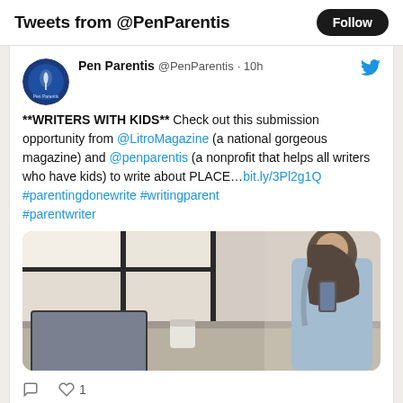Tweets from @PenParentis
**WRITERS WITH KIDS** Check out this submission opportunity from @LitroMagazine (a national gorgeous magazine) and @penparentis (a nonprofit that helps all writers who have kids) to write about PLACE…bit.ly/3Pl2g1Q #parentingdonewrite #writingparent #parentwriter
[Figure (photo): A woman with long dark hair standing at a cafe counter looking at her phone, with a laptop open on the counter, bright window light in background]
1 (heart/like count)